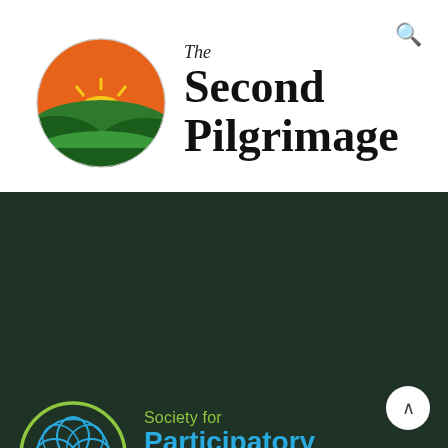[Figure (logo): The Second Pilgrimage logo: circular illustration of a sunrise over rolling green hills with orange and yellow sky]
The Second Pilgrimage
[Figure (logo): Society for Participatory Medicine logo: circular geometric flower pattern in blue with green outer ring]
Society for Participatory Medicine
Transforming the Culture of Patient Care
I support the Society for Participatory Medicine